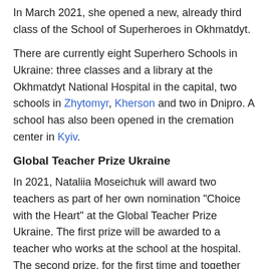In March 2021, she opened a new, already third class of the School of Superheroes in Okhmatdyt.
There are currently eight Superhero Schools in Ukraine: three classes and a library at the Okhmatdyt National Hospital in the capital, two schools in Zhytomyr, Kherson and two in Dnipro. A school has also been opened in the cremation center in Kyiv.
Global Teacher Prize Ukraine
In 2021, Nataliia Moseichuk will award two teachers as part of her own nomination "Choice with the Heart" at the Global Teacher Prize Ukraine. The first prize will be awarded to a teacher who works at the school at the hospital. The second prize, for the first time and together with the charity Vostok-SOS, will be awarded to a teacher or volunteer who teaches children at a school in the front line.
Achievement
Laureate of the All-Ukrainian Award "Woman of the III